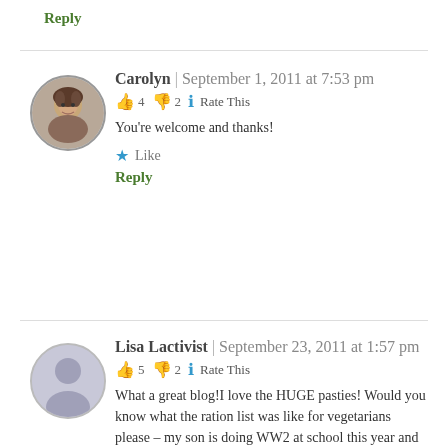Reply
Carolyn | September 1, 2011 at 7:53 pm
👍 4 👎 2 ℹ Rate This
You're welcome and thanks!
★ Like
Reply
Lisa Lactivist | September 23, 2011 at 1:57 pm
👍 5 👎 2 ℹ Rate This
What a great blog!I love the HUGE pasties! Would you know what the ration list was like for vegetarians please – my son is doing WW2 at school this year and